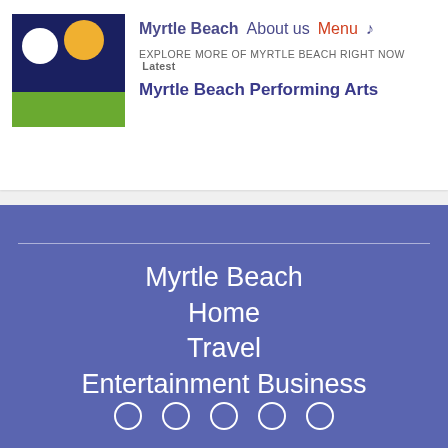[Figure (logo): Myrtle Beach logo square with dark blue top portion containing white circle and yellow circle, and green bottom strip]
Myrtle Beach  About us  Menu ♪
EXPLORE MORE OF MYRTLE BEACH RIGHT NOW  Latest
Myrtle Beach Performing Arts
Myrtle Beach
Home
Travel
Entertainment Business